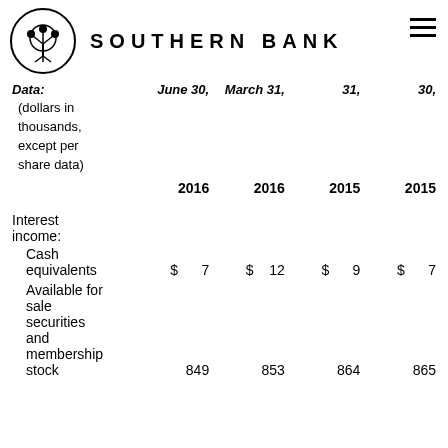SOUTHERN BANK
| Data: | June 30, | March 31, | 31, | 30, |
| --- | --- | --- | --- | --- |
| (dollars in thousands, except per share data) | 2016 | 2016 | 2015 | 2015 |
| Interest income: |  |  |  |  |
| Cash equivalents | $ 7 | $ 12 | $ 9 | $ 7 |
| Available for sale securities and membership stock | 849 | 853 | 864 | 865 |